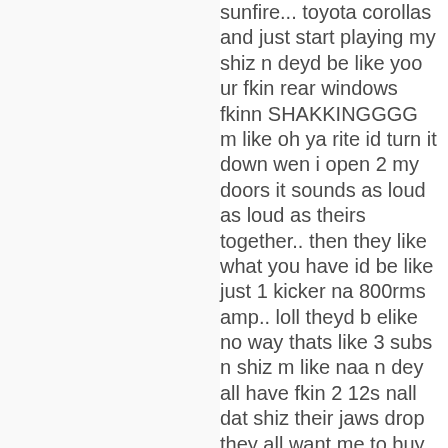sunfire... toyota corollas and just start playing my shiz n deyd be like yoo ur fkin rear windows fkinn SHAKKINGGGG m like oh ya rite id turn it down wen i open 2 my doors it sounds as loud as loud as theirs together.. then they like what you have id be like just 1 kicker na 800rms amp.. loll theyd b elike no way thats like 3 subs n shiz m like naa n dey all have fkin 2 12s nall dat shiz their jaws drop they all want me to buy them one off ebay i said nop 🙂 The thought of 1 sub is mind boggling but i also spend